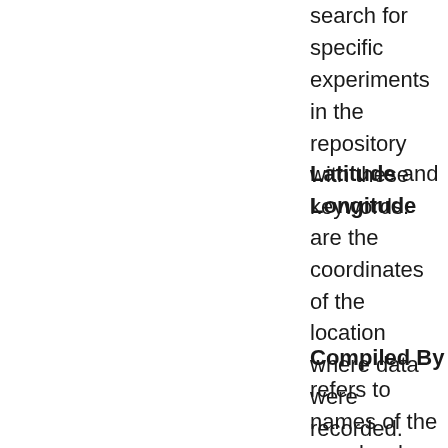search for specific experiments in the repository with these keywords.
Latitude and Longitude are the coordinates of the location where data were recorded. These are not needed for simulations.
Compiled By refers to names of the people who compiled the data. Compiling refers to